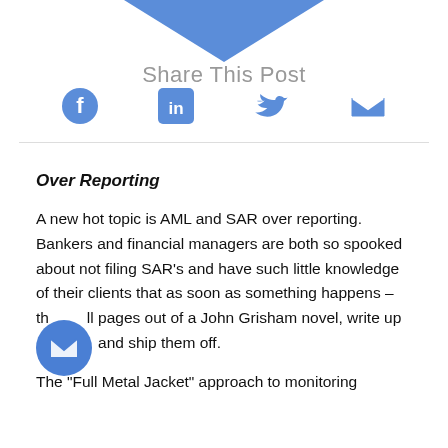[Figure (illustration): Blue downward-pointing arrow/chevron shape at the top of the page]
Share This Post
[Figure (illustration): Social sharing icons: Facebook, LinkedIn, Twitter, Email]
Over Reporting
A new hot topic is AML and SAR over reporting. Bankers and financial managers are both so spooked about not filing SAR’s and have such little knowledge of their clients that as soon as something happens – they pull pages out of a John Grisham novel, write up the SAR and ship them off.
The “Full Metal Jacket” approach to monitoring